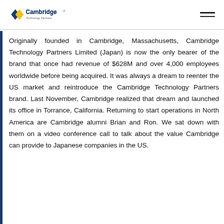Cambridge Technology Partners [logo]
Originally founded in Cambridge, Massachusetts, Cambridge Technology Partners Limited (Japan) is now the only bearer of the brand that once had revenue of $628M and over 4,000 employees worldwide before being acquired. It was always a dream to reenter the US market and reintroduce the Cambridge Technology Partners brand. Last November, Cambridge realized that dream and launched its office in Torrance, California. Returning to start operations in North America are Cambridge alumni Brian and Ron. We sat down with them on a video conference call to talk about the value Cambridge can provide to Japanese companies in the US.